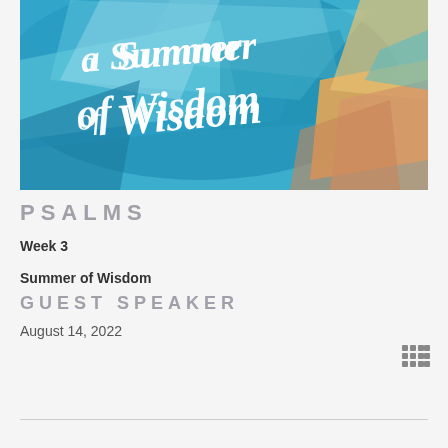[Figure (illustration): A Summer of Wisdom sermon series banner image with blue brushstroke background and script/handwritten white text reading 'a Summer of Wisdom', with orange and teal abstract shapes on the right side.]
PSALMS
Week 3
Summer of Wisdom
GUEST SPEAKER
August 14, 2022